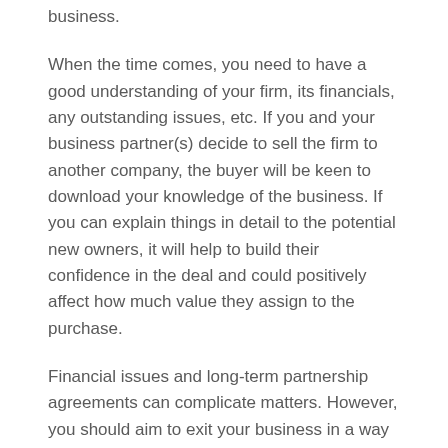business.
When the time comes, you need to have a good understanding of your firm, its financials, any outstanding issues, etc. If you and your business partner(s) decide to sell the firm to another company, the buyer will be keen to download your knowledge of the business. If you can explain things in detail to the potential new owners, it will help to build their confidence in the deal and could positively affect how much value they assign to the purchase.
Financial issues and long-term partnership agreements can complicate matters. However, you should aim to exit your business in a way that is mutually beneficial and satisfactory for everyone involved.